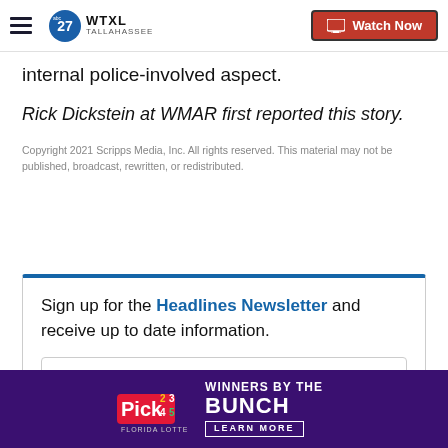WTXL TALLAHASSEE — Watch Now
internal police-involved aspect.
Rick Dickstein at WMAR first reported this story.
Copyright 2021 Scripps Media, Inc. All rights reserved. This material may not be published, broadcast, rewritten, or redistributed.
Sign up for the Headlines Newsletter and receive up to date information.
[Figure (other): Pick lottery advertisement banner — WINNERS BY THE BUNCH, LEARN MORE]